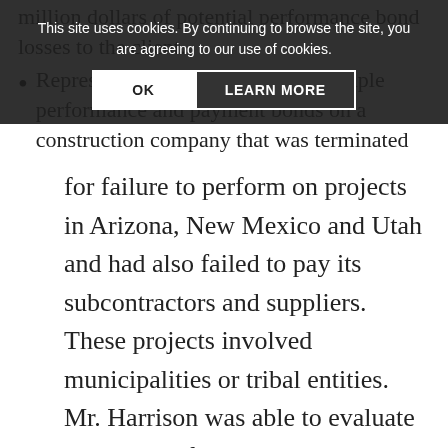million dollars of potential performance bond losses to the client.
Represented a surety who held multiple performance and payment bonds on a construction company that was terminated for failure to perform on projects in Arizona, New Mexico and Utah and had also failed to pay its subcontractors and suppliers. These projects involved municipalities or tribal entities. Mr. Harrison was able to evaluate and successfully resolve over 150 claims and lawsuits to the benefit of the client.
Represented a surety company in a complex civil dispute and claim in excess of $100 million dollars regarding construction of a regional wastewater treatment plant, which